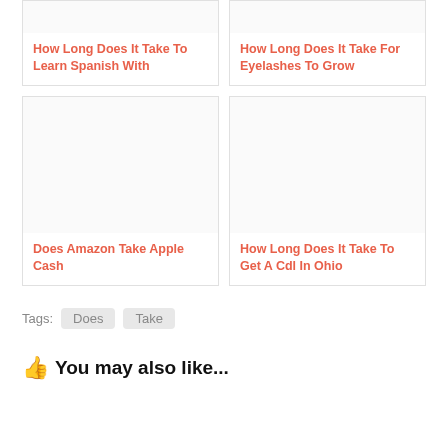[Figure (screenshot): Card with title: How Long Does It Take To Learn Spanish With]
[Figure (screenshot): Card with title: How Long Does It Take For Eyelashes To Grow]
[Figure (screenshot): Card with title: Does Amazon Take Apple Cash]
[Figure (screenshot): Card with title: How Long Does It Take To Get A Cdl In Ohio]
Tags: Does Take
👍 You may also like...